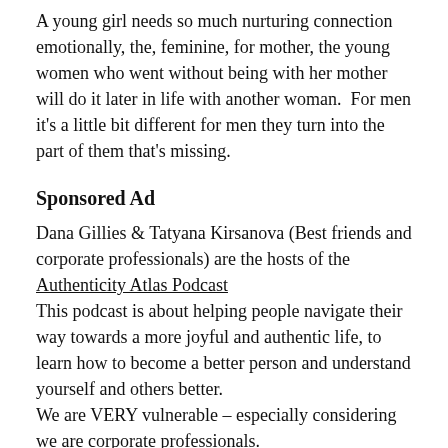A young girl needs so much nurturing connection emotionally, the, feminine, for mother, the young women who went without being with her mother will do it later in life with another woman.  For men it's a little bit different for men they turn into the part of them that's missing.
Sponsored Ad
Dana Gillies & Tatyana Kirsanova (Best friends and corporate professionals) are the hosts of the Authenticity Atlas Podcast This podcast is about helping people navigate their way towards a more joyful and authentic life, to learn how to become a better person and understand yourself and others better. We are VERY vulnerable – especially considering we are corporate professionals.